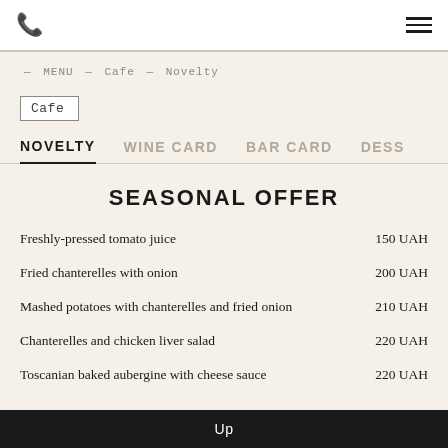Phone | Hamburger menu
— MENU — Cafe — Novelty
Cafe
NOVELTY | WINE CARD | BAR CARD | DESS
SEASONAL OFFER
Freshly-pressed tomato juice  150 UAH
Fried chanterelles with onion  200 UAH
Mashed potatoes with chanterelles and fried onion  210 UAH
Chanterelles and chicken liver salad  220 UAH
Toscanian baked aubergine with cheese sauce  220 UAH
Up